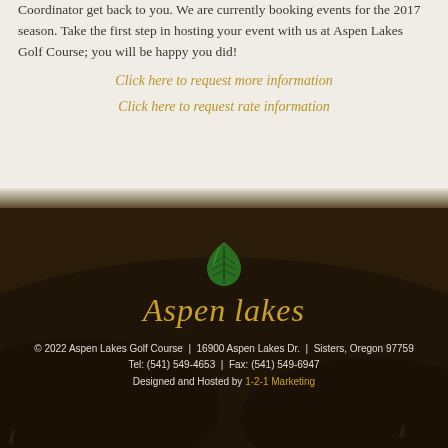Coordinator get back to you. We are currently booking events for the 2017 season. Take the first step in hosting your event with us at Aspen Lakes Golf Course; you will be happy you did!
Click here to request more information
Click here to request rate information
[Figure (logo): Aspen Lakes logo with green leaf and gold italic text]
© 2022 Aspen Lakes Golf Course | 16900 Aspen Lakes Dr. | Sisters, Oregon 97759
Tel: (541) 549-4653 | Fax: (541) 549-6947
Designed and Hosted by 1-2-1 Marketing